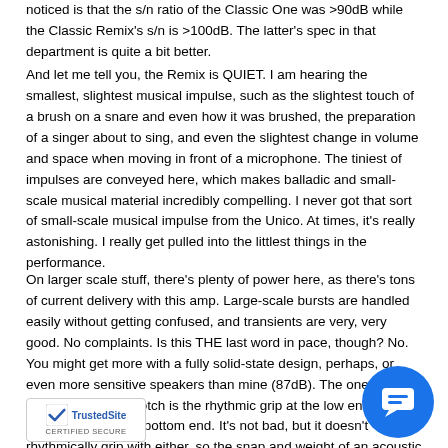noticed is that the s/n ratio of the Classic One was >90dB while the Classic Remix's s/n is >100dB. The latter's spec in that department is quite a bit better.
And let me tell you, the Remix is QUIET. I am hearing the smallest, slightest musical impulse, such as the slightest touch of a brush on a snare and even how it was brushed, the preparation of a singer about to sing, and even the slightest change in volume and space when moving in front of a microphone. The tiniest of impulses are conveyed here, which makes balladic and small-scale musical material incredibly compelling. I never got that sort of small-scale musical impulse from the Unico. At times, it's really astonishing. I really get pulled into the littlest things in the performance.
On larger scale stuff, there's plenty of power here, as there's tons of current delivery with this amp. Large-scale bursts are handled easily without getting confused, and transients are very, very good. No complaints. Is this THE last word in pace, though? No. You might get more with a fully solid-state design, perhaps, or even more sensitive speakers than mine (87dB). The one area where it's not top-notch is the rhythmic grip at the low end. It's not the tautest, leanest bottom end. It's not bad, but it doesn't rhythmically grip with either, so the snap and weight of an acoustic bass in the jazz group quite present as much as I'd like (and as much as I heard through the Unico).